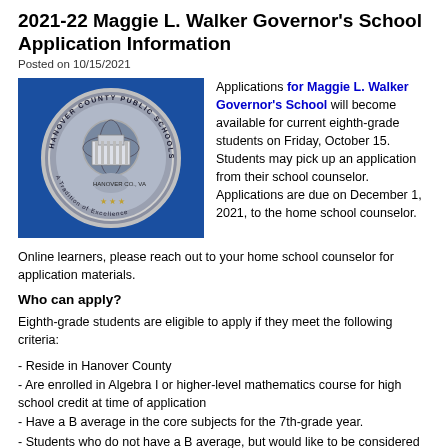2021-22 Maggie L. Walker Governor's School Application Information
Posted on 10/15/2021
[Figure (logo): Hanover County Public Schools circular seal on a blue background. The seal shows a historic building and text reading 'Hanover County Public Schools, Hanover County, Virginia, A Tradition of Excellence'.]
Applications for Maggie L. Walker Governor's School will become available for current eighth-grade students on Friday, October 15. Students may pick up an application from their school counselor. Applications are due on December 1, 2021, to the home school counselor.
Online learners, please reach out to your home school counselor for application materials.
Who can apply?
Eighth-grade students are eligible to apply if they meet the following criteria:
- Reside in Hanover County
- Are enrolled in Algebra I or higher-level mathematics course for high school credit at time of application
- Have a B average in the core subjects for the 7th-grade year.
- Students who do not have a B average, but would like to be considered as an applicant due to special circumstances, must provide a letter of explanation.